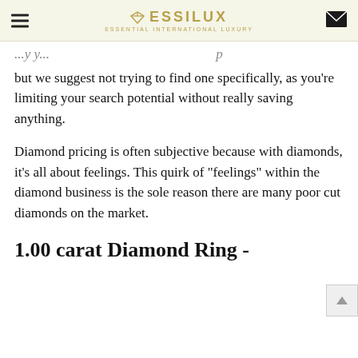ESSILUX — ESSENTIAL INTERNATIONAL LUXURY
but we suggest not trying to find one specifically, as you're limiting your search potential without really saving anything.
Diamond pricing is often subjective because with diamonds, it's all about feelings. This quirk of "feelings" within the diamond business is the sole reason there are many poor cut diamonds on the market.
1.00 carat Diamond Ring -